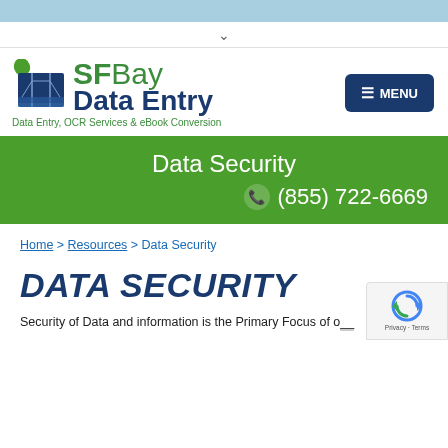[Figure (logo): SFBay Data Entry logo with Golden Gate Bridge icon. Text: SFBay Data Entry. Subtitle: Data Entry, OCR Services & eBook Conversion]
Data Security
(855) 722-6669
Home > Resources > Data Security
DATA SECURITY
Security of Data and information is the Primary Focus of o...